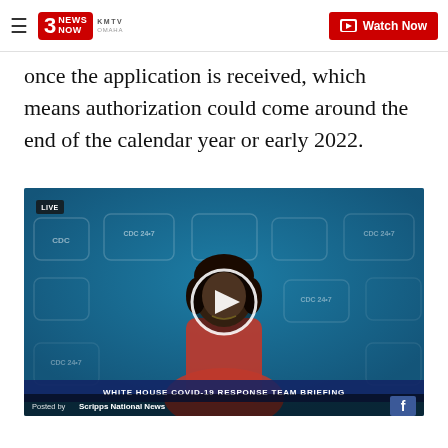3 News Now KMTV Omaha | Watch Now
once the application is received, which means authorization could come around the end of the calendar year or early 2022.
[Figure (screenshot): Embedded video player showing a woman in a red blazer speaking at a CDC briefing. The video has a blue background with CDC logos. A play button overlay is visible. A 'LIVE' indicator is shown at the top-left. At the bottom, text reads 'WHITE HOUSE COVID-19 RESPONSE TEAM BRIEFING'. Below that: 'Posted by Scripps National News' with a Facebook icon.]